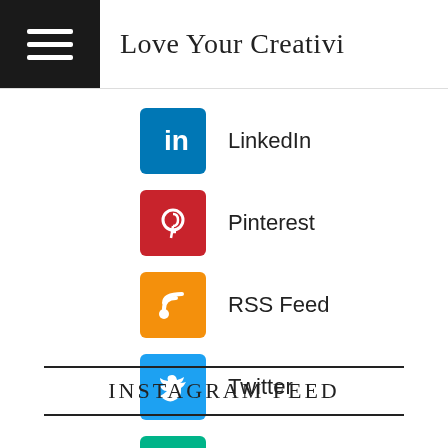Love Your Creativi...
LinkedIn
Pinterest
RSS Feed
Twitter
Vine
YouTube
INSTAGRAM FEED